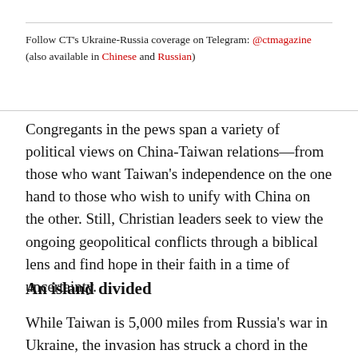Follow CT's Ukraine-Russia coverage on Telegram: @ctmagazine (also available in Chinese and Russian)
Congregants in the pews span a variety of political views on China-Taiwan relations—from those who want Taiwan's independence on the one hand to those who wish to unify with China on the other. Still, Christian leaders seek to view the ongoing geopolitical conflicts through a biblical lens and find hope in their faith in a time of uncertainty.
An island divided
While Taiwan is 5,000 miles from Russia's war in Ukraine, the invasion has struck a chord in the island of 23.6 million residents, which faces its own